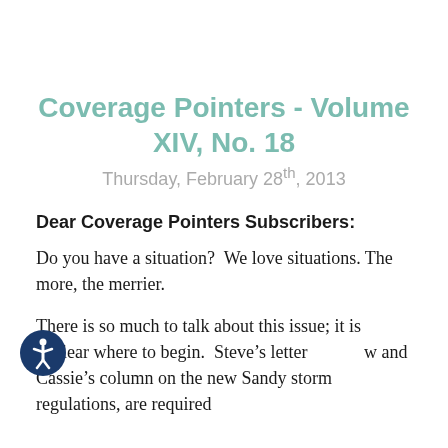Coverage Pointers - Volume XIV, No. 18
Thursday, February 28th, 2013
Dear Coverage Pointers Subscribers:
Do you have a situation?  We love situations. The more, the merrier.
There is so much to talk about this issue; it is unclear where to begin.  Steve’s letter below and Cassie’s column on the new Sandy storm regulations, are required